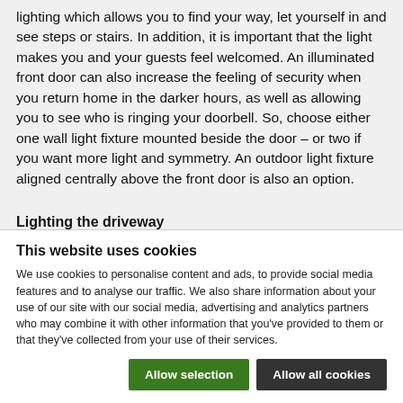lighting which allows you to find your way, let yourself in and see steps or stairs. In addition, it is important that the light makes you and your guests feel welcomed. An illuminated front door can also increase the feeling of security when you return home in the darker hours, as well as allowing you to see who is ringing your doorbell. So, choose either one wall light fixture mounted beside the door – or two if you want more light and symmetry. An outdoor light fixture aligned centrally above the front door is also an option.
Lighting the driveway
This website uses cookies
We use cookies to personalise content and ads, to provide social media features and to analyse our traffic. We also share information about your use of our site with our social media, advertising and analytics partners who may combine it with other information that you've provided to them or that they've collected from your use of their services.